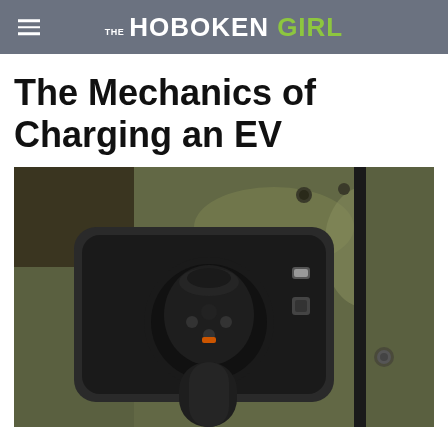THE HOBOKEN GIRL
The Mechanics of Charging an EV
[Figure (photo): Close-up photo of an electric vehicle charging port with a charging cable plugged in. The vehicle appears to be olive/dark green colored, and the charging port cover is open showing the connector inserted into the port.]